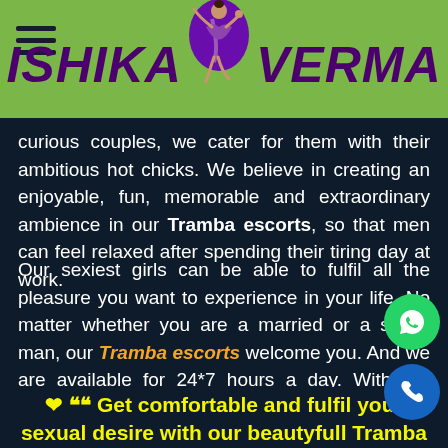ISHIKA VERMA
curious couples, we cater for them with their ambitious hot chicks. We believe in creating an enjoyable, fun, memorable and extraordinary ambience in our Tramba escorts, so that men can feel relaxed after spending their tiring day at work.
Our sexiest girls can be able to fulfil all the pleasure you want to experience in your life. No matter whether you are a married or a single man, our Tramba escorts welcome you. And we are available for 24*7 hours a day. With our gorgeous ladies, you can experience heaven and can forget all stress and tensions in your life.
❤ ““  Get comfortable and fulfil your sexual desire with our beautyfull Tramba